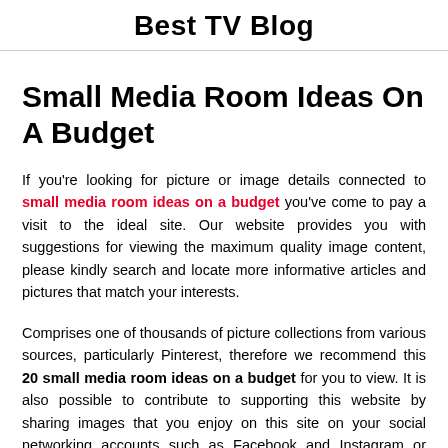Best TV Blog
Small Media Room Ideas On A Budget
If you're looking for picture or image details connected to small media room ideas on a budget you've come to pay a visit to the ideal site. Our website provides you with suggestions for viewing the maximum quality image content, please kindly search and locate more informative articles and pictures that match your interests.
Comprises one of thousands of picture collections from various sources, particularly Pinterest, therefore we recommend this 20 small media room ideas on a budget for you to view. It is also possible to contribute to supporting this website by sharing images that you enjoy on this site on your social networking accounts such as Facebook and Instagram or educate your closest your experiences about